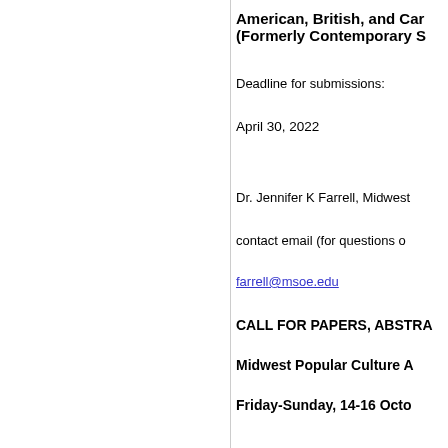American, British, and Canadian Studies (Formerly Contemporary Studies)
Deadline for submissions:
April 30, 2022
Dr. Jennifer K Farrell, Midwest
contact email (for questions only)
farrell@msoe.edu
CALL FOR PAPERS, ABSTRACTS
Midwest Popular Culture Association
Friday-Sunday, 14-16 October